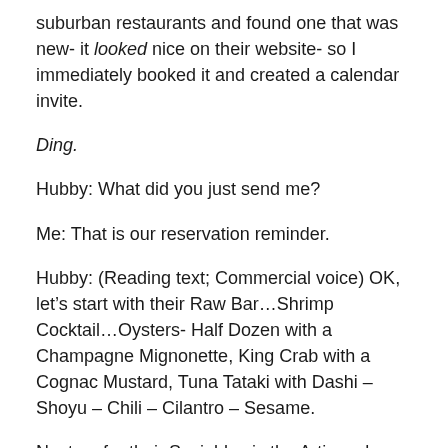suburban restaurants and found one that was new- it looked nice on their website- so I immediately booked it and created a calendar invite.
Ding.
Hubby: What did you just send me?
Me: That is our reservation reminder.
Hubby: (Reading text; Commercial voice) OK, let’s start with their Raw Bar…Shrimp Cocktail…Oysters- Half Dozen with a Champagne Mignonette, King Crab with a Cognac Mustard, Tuna Tataki with Dashi – Shoyu – Chili – Cilantro – Sesame.
Next up for their Sociables is the Artisanal Meat served with House Pickles – in a Red Wine Mostarda with Olives.